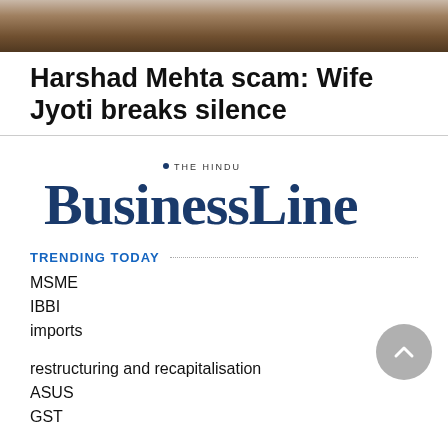[Figure (photo): Partial face/head photo of a person, cropped at top of page]
Harshad Mehta scam: Wife Jyoti breaks silence
[Figure (logo): BusinessLine logo — The Hindu BusinessLine newspaper logo in dark blue serif font with tagline THE HINDU above]
TRENDING TODAY
MSME
IBBI
imports
restructuring and recapitalisation
ASUS
GST
TRENDING THIS WEEK
MSME